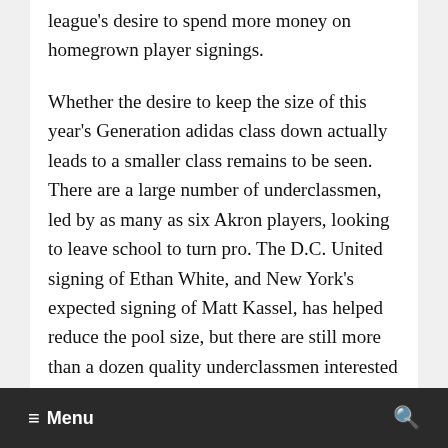league's desire to spend more money on homegrown player signings.
Whether the desire to keep the size of this year's Generation adidas class down actually leads to a smaller class remains to be seen. There are a large number of underclassmen, led by as many as six Akron players, looking to leave school to turn pro. The D.C. United signing of Ethan White, and New York's expected signing of Matt Kassel, has helped reduce the pool size, but there are still more than a dozen quality underclassmen interested in signing with MLS,
≡ Menu   🔍